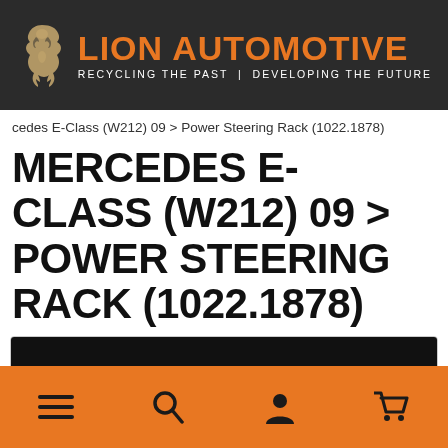[Figure (logo): Lion Automotive logo with lion heraldic icon on dark background. Orange text reads LION AUTOMOTIVE with white subtitle RECYCLING THE PAST | DEVELOPING THE FUTURE]
cedes E-Class (W212) 09 > Power Steering Rack (1022.1878)
MERCEDES E-CLASS (W212) 09 > POWER STEERING RACK (1022.1878)
[Figure (screenshot): Partial product image with black bar at top]
[Figure (infographic): Orange bottom navigation bar with hamburger menu, search, user/account, and shopping cart icons]